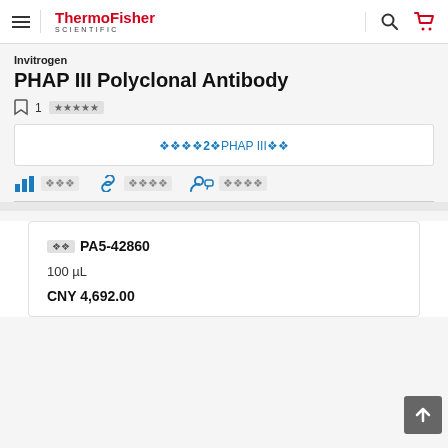ThermoFisher Scientific
Invitrogen
PHAP III Polyclonal Antibody
1 [review]
[link] 2 PHAP III [related products]
[bar chart icon] [cite] [link icon] [share] [person icon] [ask]
| Field | Value |
| --- | --- |
| Cat # | PA5-42860 |
| Volume | 100 µL |
| Price | CNY 4,692.00 |